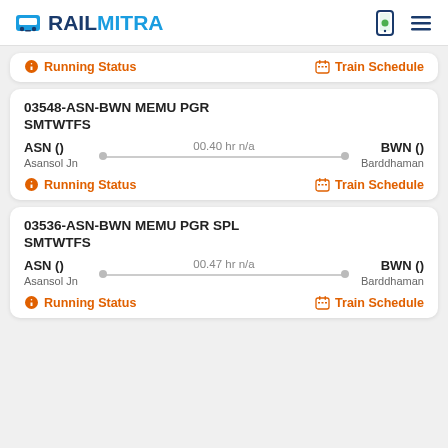RAILMITRA
Running Status | Train Schedule
03548-ASN-BWN MEMU PGR SMTWTFS
ASN () — 00.40 hr n/a — BWN () | Asansol Jn | Barddhaman
Running Status | Train Schedule
03536-ASN-BWN MEMU PGR SPL SMTWTFS
ASN () — 00.47 hr n/a — BWN () | Asansol Jn | Barddhaman
Running Status | Train Schedule